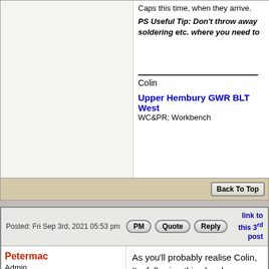Caps this time, when they arrive.
PS Useful Tip: Don't throw away soldering etc. where you need to
Colin
Upper Hembury GWR BLT West WC&PR; Workbench
Back To Top
Posted: Fri Sep 3rd, 2021 05:53 pm
PM
Quote
Reply
link to this 3rd post
Petermac
Admin
[Figure (photo): Avatar photo of Petermac - elderly man in light blue shirt outdoors]
As you'll probably realise Colin, I'm following this closely - very closely !